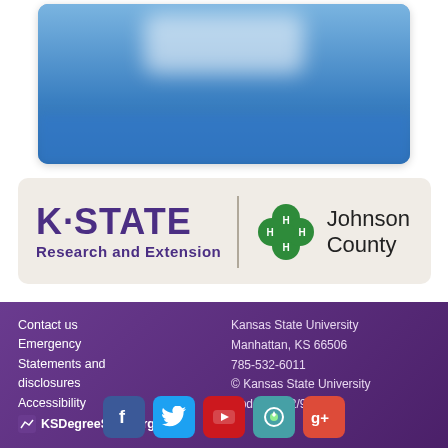[Figure (screenshot): Blurred blue card/screenshot at top of page, partially visible K-State extension content]
[Figure (logo): K-STATE Research and Extension logo combined with 4-H Johnson County logo on beige/cream background banner]
Contact us
Emergency
Statements and disclosures
Accessibility
KSDegreeStats.org
Kansas State University
Manhattan, KS 66506
785-532-6011
© Kansas State University
Updated: 12/9/21
[Figure (infographic): Social media icons row: Facebook, Twitter, YouTube, Swarm/Foursquare, Google+]